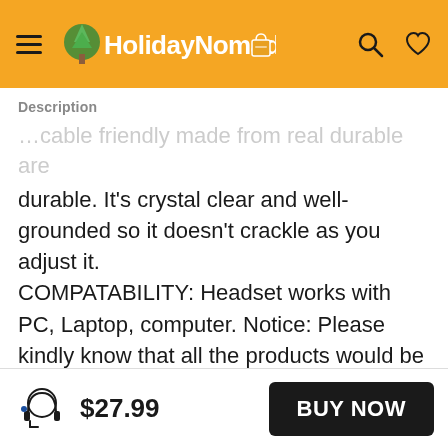HolidayNomad [logo with hamburger menu, search icon, heart icon]
Description
durable. It's crystal clear and well-grounded so it doesn't crackle as you adjust it. COMPATABILITY: Headset works with PC, Laptop, computer. Notice: Please kindly know that all the products would be checked or tested before shipping out to ensure a good shopping experience. NOISE CANCELING: Updated closed earcups design in Sades SPIRITWOLF USB version PC Gaming Headset,PLUGS AND PLAY covers your entire ear and cuts out external sound very effectively, and with
$27.99  BUY NOW